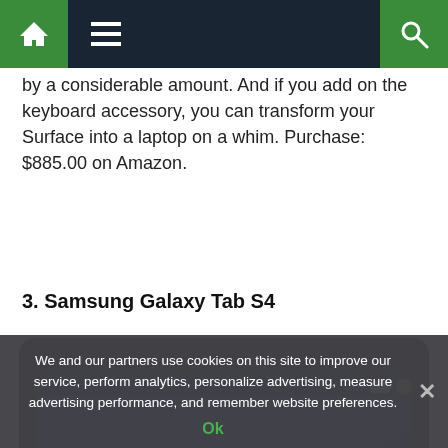Navigation bar with home, menu, and search icons
by a considerable amount. And if you add on the keyboard accessory, you can transform your Surface into a laptop on a whim. Purchase: $885.00 on Amazon.
3. Samsung Galaxy Tab S4
[Figure (photo): Samsung Galaxy Tab S4 tablet showing lock screen with the number 12 on a blue/purple background]
We and our partners use cookies on this site to improve our service, perform analytics, personalize advertising, measure advertising performance, and remember website preferences.